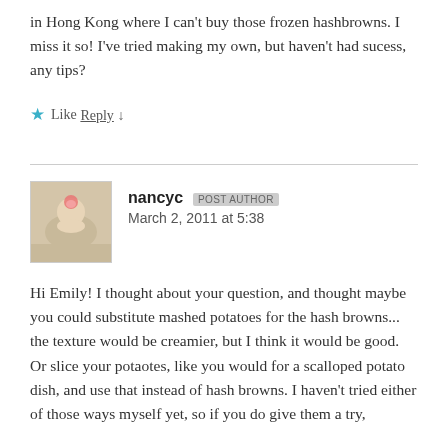in Hong Kong where I can't buy those frozen hashbrowns. I miss it so! I've tried making my own, but haven't had sucess, any tips?
★ Like
Reply ↓
nancyc POST AUTHOR
March 2, 2011 at 5:38
Hi Emily! I thought about your question, and thought maybe you could substitute mashed potatoes for the hash browns... the texture would be creamier, but I think it would be good. Or slice your potaotes, like you would for a scalloped potato dish, and use that instead of hash browns. I haven't tried either of those ways myself yet, so if you do give them a try,